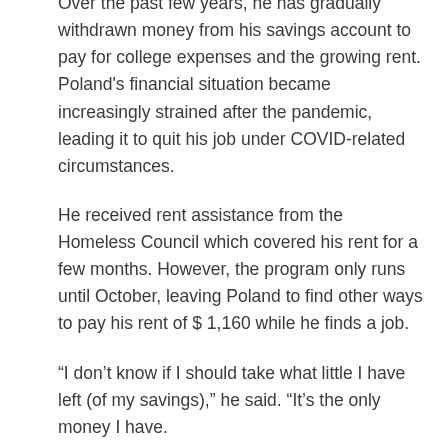Over the past few years, he has gradually withdrawn money from his savings account to pay for college expenses and the growing rent. Poland's financial situation became increasingly strained after the pandemic, leading it to quit his job under COVID-related circumstances.
He received rent assistance from the Homeless Council which covered his rent for a few months. However, the program only runs until October, leaving Poland to find other ways to pay his rent of $ 1,160 while he finds a job.
“I don’t know if I should take what little I have left (of my savings),” he said. “It’s the only money I have.
Poland’s struggle with rent increases is not uncommon.
Market rates continue to rise due to the scarcity of available housing and the recent development of high rent apartments. In Vancouver, the average rent increase in October was 16 percent,